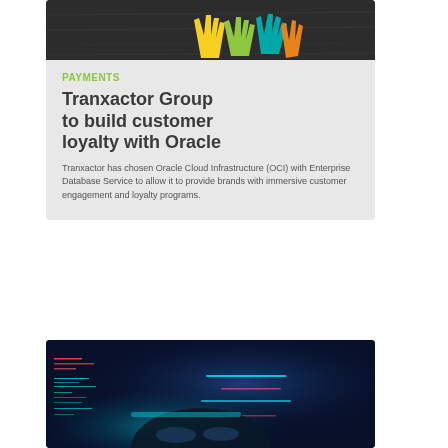[Figure (photo): Dark background with colorful hand-shaped cutouts in yellow, green, and teal colors on a wooden surface]
PAYMENTS
Tranxactor Group to build customer loyalty with Oracle
Tranxactor has chosen Oracle Cloud Infrastructure (OCI) with Enterprise Database Service to allow it to provide brands with immersive customer engagement and loyalty programs.
[Figure (photo): A person working on a laptop with blue and red glowing code on screens in a dark environment]